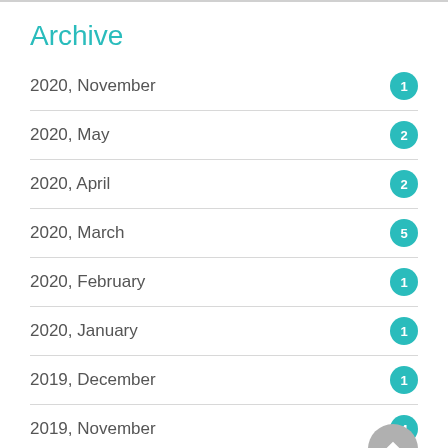Archive
2020, November
2020, May
2020, April
2020, March
2020, February
2020, January
2019, December
2019, November
2019, October
2019, September